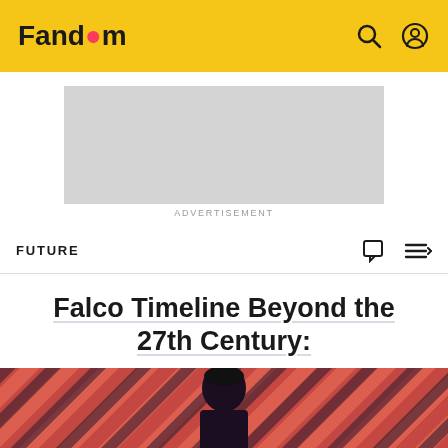Fandom
[Figure (other): Advertisement placeholder gray box]
ADVERTISEMENT
FUTURE
Falco Timeline Beyond the 27th Century:
[Figure (photo): Hero image showing a person with dark hair against a coral/red and dark diagonal striped background]